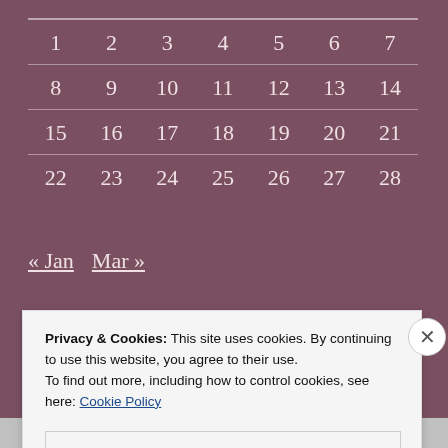| 1 | 2 | 3 | 4 | 5 | 6 | 7 |
| 8 | 9 | 10 | 11 | 12 | 13 | 14 |
| 15 | 16 | 17 | 18 | 19 | 20 | 21 |
| 22 | 23 | 24 | 25 | 26 | 27 | 28 |
« Jan   Mar »
Privacy & Cookies: This site uses cookies. By continuing to use this website, you agree to their use.
To find out more, including how to control cookies, see here: Cookie Policy
Close and accept